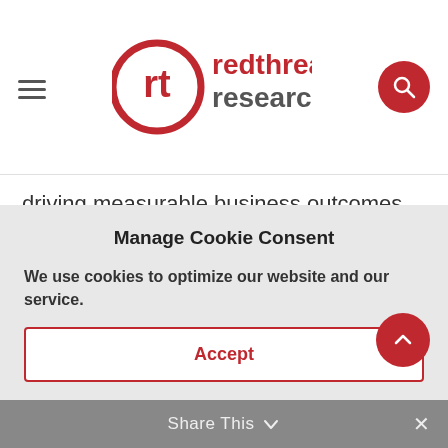Red Thread Research — navigation header with logo
driving measurable business outcomes.
TRANSCRIPT
Deborah Quazzo:
It's Deborah Quazzo, managing partner of GSV
Manage Cookie Consent
We use cookies to optimize our website and our service.
Accept
Share This